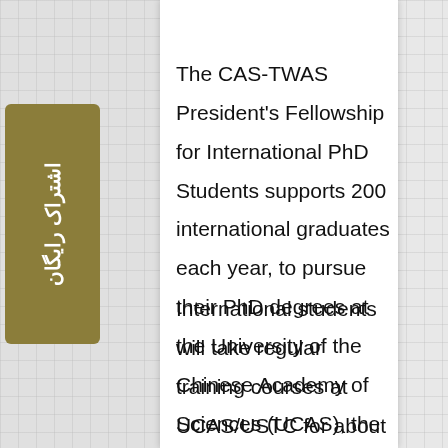The CAS-TWAS President's Fellowship for International PhD Students supports 200 international graduates each year, to pursue their PhD degrees at the University of the Chinese Academy of Sciences (UCAS), the University of Science and Technology of China (USTC) or CAS institutes around China.
International students will take regular training courses at UCAS/USTC for about a year and carry out research and dissertation at CAS institutes. In addition to tuition
[Figure (other): Persian language subscribe button (اشتراک رایگان - free subscription) rendered as a vertical gold/olive colored tab on the left side of the page]